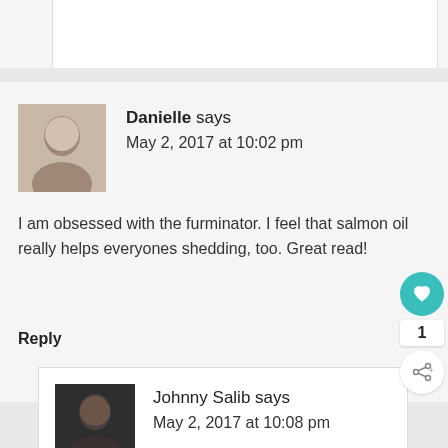[Figure (screenshot): Top partial section of a webpage comment area showing a partial white box]
Danielle says
May 2, 2017 at 10:02 pm
I am obsessed with the furminator. I feel that salmon oil really helps everyones shedding, too. Great read!
Reply
Johnny Salib says
May 2, 2017 at 10:08 pm